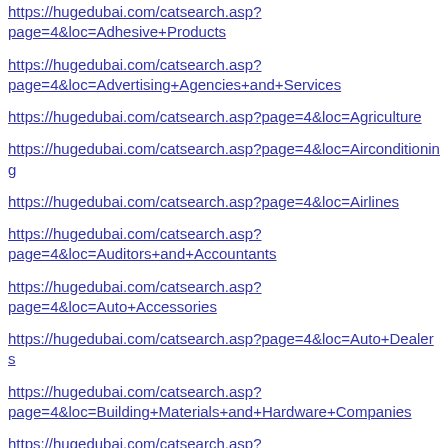https://hugedubai.com/catsearch.asp?page=4&loc=Adhesive+Products
https://hugedubai.com/catsearch.asp?page=4&loc=Advertising+Agencies+and+Services
https://hugedubai.com/catsearch.asp?page=4&loc=Agriculture
https://hugedubai.com/catsearch.asp?page=4&loc=Airconditioning
https://hugedubai.com/catsearch.asp?page=4&loc=Airlines
https://hugedubai.com/catsearch.asp?page=4&loc=Auditors+and+Accountants
https://hugedubai.com/catsearch.asp?page=4&loc=Auto+Accessories
https://hugedubai.com/catsearch.asp?page=4&loc=Auto+Dealers
https://hugedubai.com/catsearch.asp?page=4&loc=Building+Materials+and+Hardware+Companies
https://hugedubai.com/catsearch.asp?page=4&loc=Cargo+and+Freight
https://hugedubai.com/catsearch.asp?page=4&loc=...